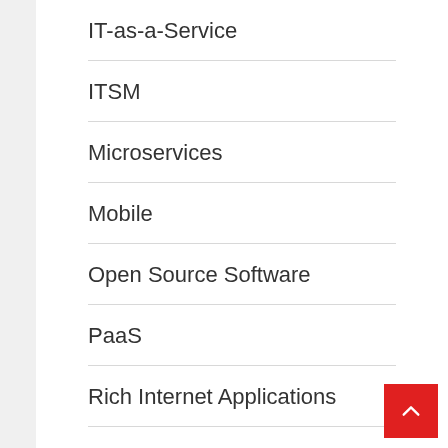IT-as-a-Service
ITSM
Microservices
Mobile
Open Source Software
PaaS
Rich Internet Applications
Risk & Compliance
RPA